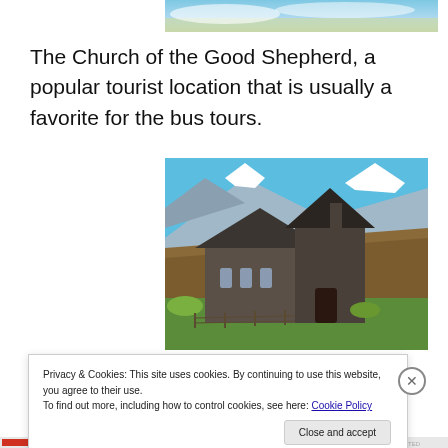[Figure (photo): Partial view of a landscape photo at top of page, cropped]
The Church of the Good Shepherd, a popular tourist location that is usually a favorite for the bus tours.
[Figure (photo): The Church of the Good Shepherd, a stone church with a steep roof set against snow-capped mountains and blue sky]
Privacy & Cookies: This site uses cookies. By continuing to use this website, you agree to their use.
To find out more, including how to control cookies, see here: Cookie Policy
Close and accept